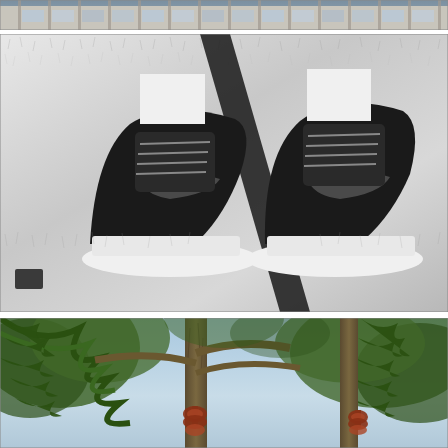[Figure (photo): Top strip of an urban building facade, partially cropped, showing architectural details in color/grayscale]
[Figure (photo): Black and white overhead photo of a person's feet wearing dark Nike sneakers (Air Jordan 1 style) and white socks, standing on a fluffy shag rug with a dark stripe]
[Figure (photo): Color photo looking up through green pine/fir tree branches toward a sky, with tree trunks and what appear to be utility pole insulators visible]